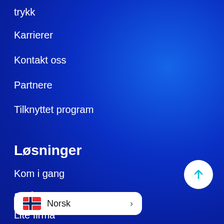trykk
Karrierer
Kontakt oss
Partnere
Tilknyttet program
Løsninger
Kom i gang
Språk
Lite firma
Bedriften
[Figure (illustration): White circular button with upward arrow (scroll-to-top button)]
[Figure (illustration): Language selector showing Norwegian flag and text 'Norsk' with a chevron arrow]